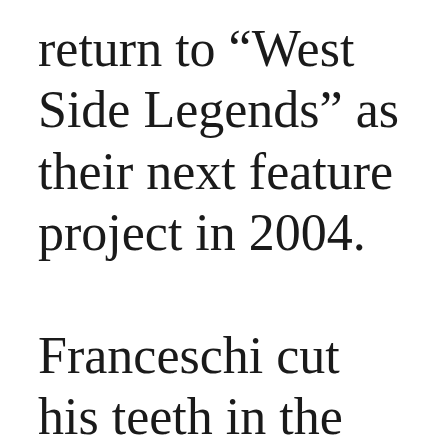return to “West Side Legends” as their next feature project in 2004. Franceschi cut his teeth in the rental department at Helix as